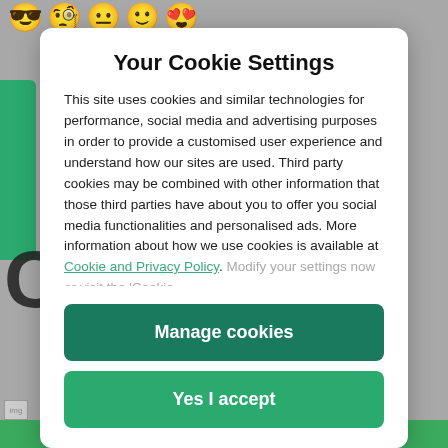[Figure (screenshot): Background with emoji row (sunglasses, monocle, neutral, smile, heart-eyes faces) and gray website content behind a cookie consent modal dialog.]
Your Cookie Settings
This site uses cookies and similar technologies for performance, social media and advertising purposes in order to provide a customised user experience and understand how our sites are used. Third party cookies may be combined with other information that those third parties have about you to offer you social media functionalities and personalised ads. More information about how we use cookies is available at Cookie and Privacy Policy. Modify your settings now or visit the 'Cookie
Manage cookies
Yes I accept